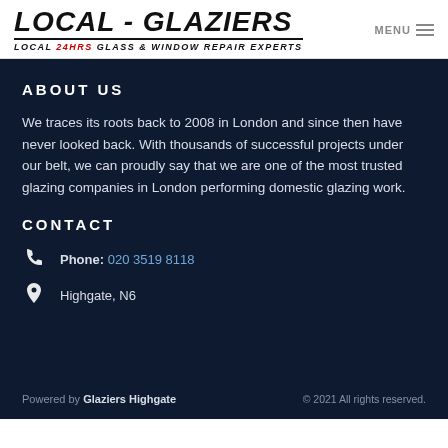LOCAL - GLAZIERS | LOCAL 24HRS GLASS & WINDOW REPAIR EXPERTS | MENU
ABOUT US
We traces its roots back to 2008 in London and since then have never looked back. With thousands of successful projects under our belt, we can proudly say that we are one of the most trusted glazing companies in London performing domestic glazing work.
CONTACT
Phone: 020 3519 8118
Highgate, N6
Powered by Glaziers Highgate | © 2021 All rights reserved.